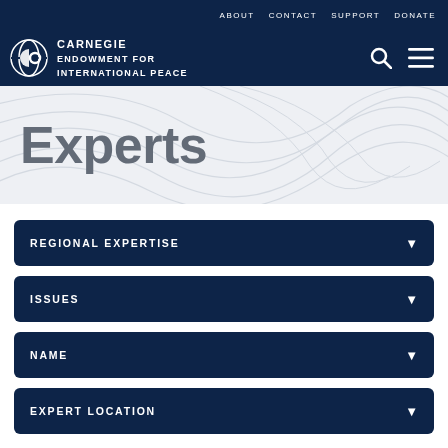ABOUT  CONTACT  SUPPORT  DONATE
[Figure (logo): Carnegie Endowment for International Peace logo with circular icon and text]
Experts
REGIONAL EXPERTISE ▼
ISSUES ▼
NAME ▼
EXPERT LOCATION ▼